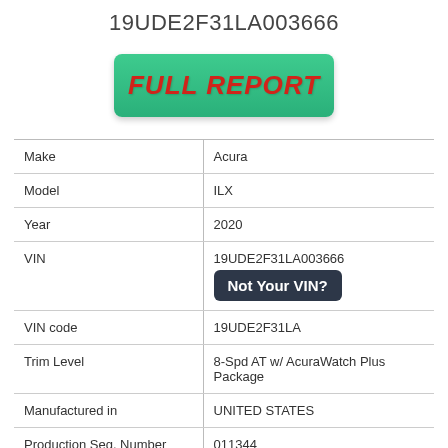19UDE2F31LA003666
[Figure (other): Green button with red italic bold text reading FULL REPORT]
| Make | Acura |
| Model | ILX |
| Year | 2020 |
| VIN | 19UDE2F31LA003666 / Not Your VIN? |
| VIN code | 19UDE2F31LA |
| Trim Level | 8-Spd AT w/ AcuraWatch Plus Package |
| Manufactured in | UNITED STATES |
| Production Seq. Number | 011344 |